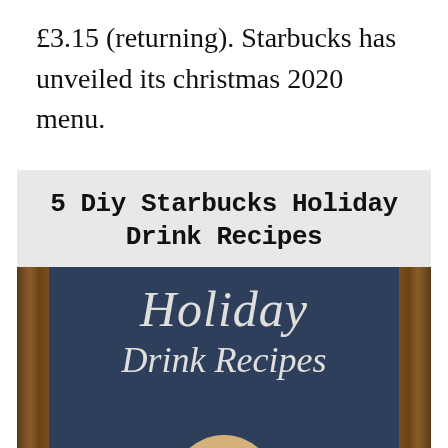£3.15 (returning). Starbucks has unveiled its christmas 2020 menu.
[Figure (illustration): Composite image with gray header text reading '5 Diy Starbucks Holiday Drink Recipes' in bold distressed font, above a chalkboard-style photo with wooden frame borders, white script text reading 'Holiday Drink Recipes', and a cup of coffee at the bottom with a close button overlay.]